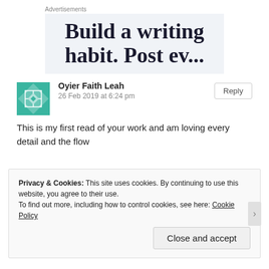Advertisements
[Figure (other): Advertisement banner with text 'Build a writing habit. Post ev...' on light blue-grey background]
Oyier Faith Leah
26 Feb 2019 at 6:24 pm
This is my first read of your work and am loving every detail and the flow
Privacy & Cookies: This site uses cookies. By continuing to use this website, you agree to their use. To find out more, including how to control cookies, see here: Cookie Policy